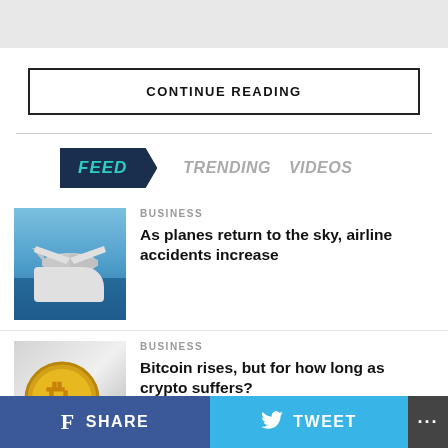CONTINUE READING
FEED   TRENDING   VIDEOS
BUSINESS
As planes return to the sky, airline accidents increase
BUSINESS
Bitcoin rises, but for how long as crypto suffers?
BUSINESS
f SHARE   TWEET   ...